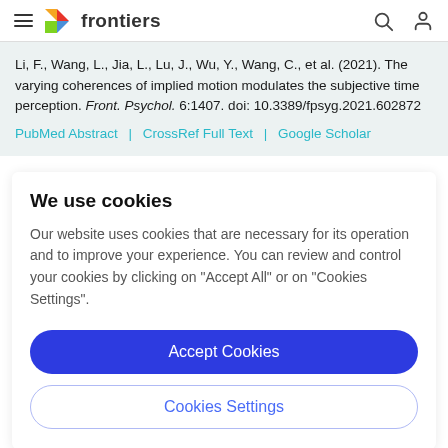frontiers
Li, F., Wang, L., Jia, L., Lu, J., Wu, Y., Wang, C., et al. (2021). The varying coherences of implied motion modulates the subjective time perception. Front. Psychol. 6:1407. doi: 10.3389/fpsyg.2021.602872
PubMed Abstract | CrossRef Full Text | Google Scholar
We use cookies
Our website uses cookies that are necessary for its operation and to improve your experience. You can review and control your cookies by clicking on "Accept All" or on "Cookies Settings".
Accept Cookies
Cookies Settings